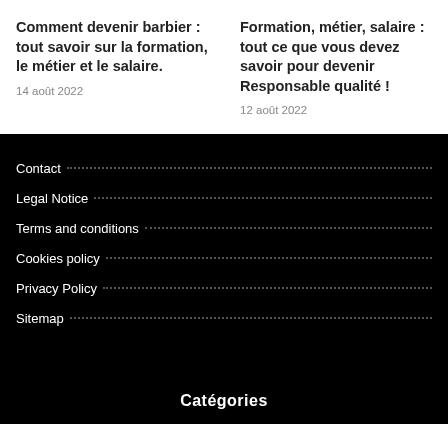Comment devenir barbier : tout savoir sur la formation, le métier et le salaire.
14 août 2022
Formation, métier, salaire : tout ce que vous devez savoir pour devenir Responsable qualité !
12 août 2022
Contact
Legal Notice
Terms and conditions
Cookies policy
Privacy Policy
Sitemap
Catégories